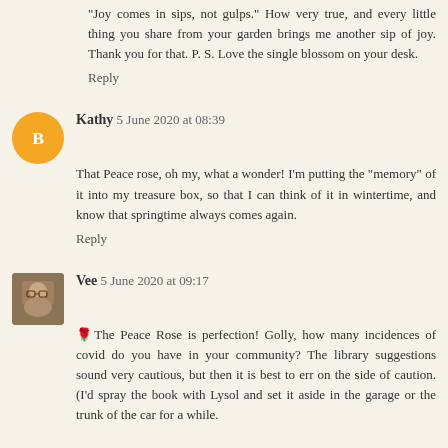"Joy comes in sips, not gulps." How very true, and every little thing you share from your garden brings me another sip of joy. Thank you for that. P. S. Love the single blossom on your desk.
Reply
Kathy 5 June 2020 at 08:39
That Peace rose, oh my, what a wonder! I'm putting the "memory" of it into my treasure box, so that I can think of it in wintertime, and know that springtime always comes again.
Reply
Vee 5 June 2020 at 09:17
🌹The Peace Rose is perfection! Golly, how many incidences of covid do you have in your community? The library suggestions sound very cautious, but then it is best to err on the side of caution. (I'd spray the book with Lysol and set it aside in the garage or the trunk of the car for a while.